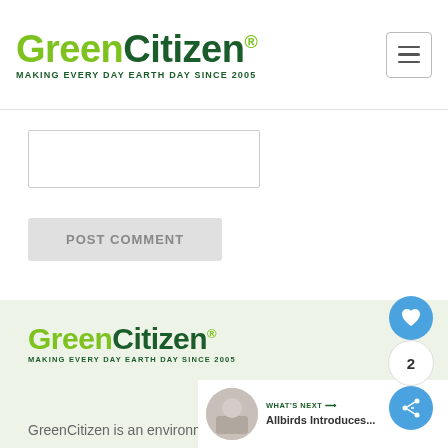GreenCitizen® MAKING EVERY DAY EARTH DAY SINCE 2005
[Figure (screenshot): Comment form input box (empty text field)]
[Figure (screenshot): POST COMMENT button (gray, disabled style)]
[Figure (logo): GreenCitizen logo with tagline MAKING EVERY DAY EARTH DAY SINCE 2005 in footer area]
GreenCitizen is an environmental conservation company